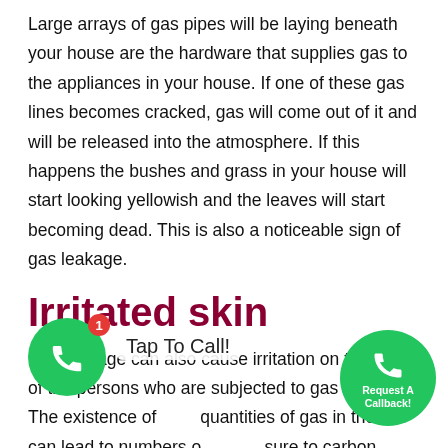Large arrays of gas pipes will be laying beneath your house are the hardware that supplies gas to the appliances in your house. If one of these gas lines becomes cracked, gas will come out of it and will be released into the atmosphere. If this happens the bushes and grass in your house will start looking yellowish and the leaves will start becoming dead. This is also a noticeable sign of gas leakage.
Irritated skin
Gas leakage can also cause irritation on the skins of the persons who are subjected to gas leakage. The existence of quantities of gas in the air can lead to numb... sure to carbon monoxide lead to skin discoloration and other problems related...